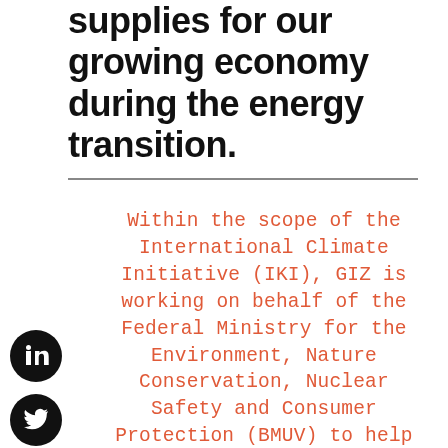supplies for our growing economy during the energy transition.
Within the scope of the International Climate Initiative (IKI), GIZ is working on behalf of the Federal Ministry for the Environment, Nature Conservation, Nuclear Safety and Consumer Protection (BMUV) to help the Dominican Republic achieve its climate goals. We work closely with the Ministry